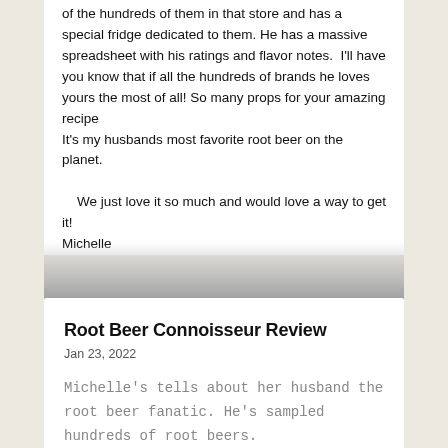of the hundreds of them in that store and has a special fridge dedicated to them. He has a massive spreadsheet with his ratings and flavor notes.  I'll have you know that if all the hundreds of brands he loves yours the most of all! So many props for your amazing recipe
It's my husbands most favorite root beer on the planet.

    We just love it so much and would love a way to get it!
Michelle
Root Beer Connoisseur Review
Jan 23, 2022
Michelle's tells about her husband the root beer fanatic. He's sampled hundreds of root beers.